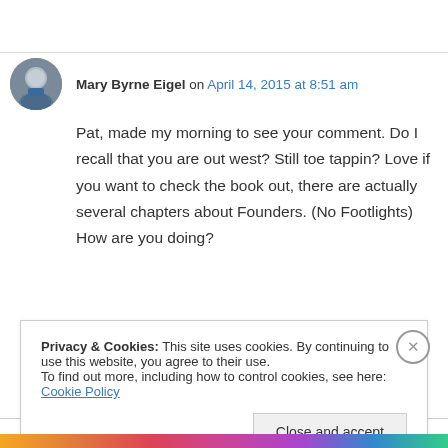Mary Byrne Eigel on April 14, 2015 at 8:51 am
Pat, made my morning to see your comment. Do I recall that you are out west? Still toe tappin? Love if you want to check the book out, there are actually several chapters about Founders. (No Footlights) How are you doing?
Privacy & Cookies: This site uses cookies. By continuing to use this website, you agree to their use.
To find out more, including how to control cookies, see here: Cookie Policy
Close and accept